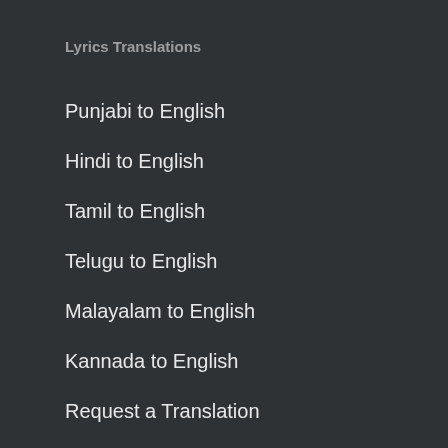Lyrics Translations
Punjabi to English
Hindi to English
Tamil to English
Telugu to English
Malayalam to English
Kannada to English
Request a Translation
Overview
About
Contact